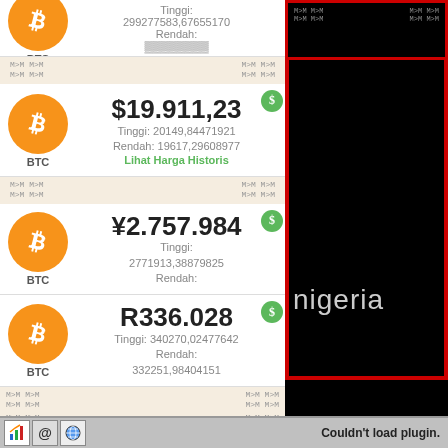[Figure (screenshot): Bitcoin price tracker app showing BTC prices in multiple currencies. Top partial card cut off. Second card: BTC $19.911,23, Tinggi: 20149,84471921, Rendah: 19617,29608977, Lihat Harga Historis. Third card: BTC ¥2.757.984, Tinggi: 2771913,38879825, Rendah: (cut off). Fourth card: BTC R336.028, Tinggi: 340270,02477642, Rendah: 332251,98404151. Right side shows black panel with red border and text 'nigeria'. Bottom shows pages count 1 765 006 and taskbar with 'Couldn't load plugin.' message.]
nigeria
Pages 1 765 006 | Online ? | Couldn't load plugin.